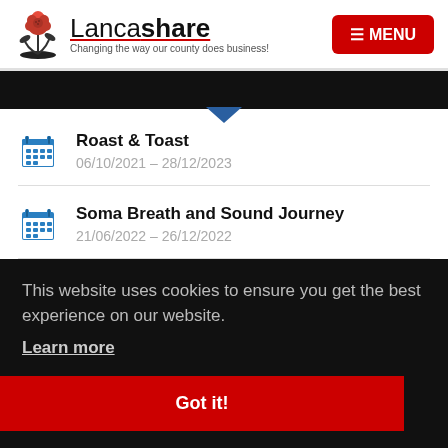Lancashare — Changing the way our county does business!
Roast & Toast
06/10/2021 – 28/12/2023
Soma Breath and Sound Journey
21/06/2022 – 26/12/2022
This website uses cookies to ensure you get the best experience on our website. Learn more
Got it!
24/08/2022